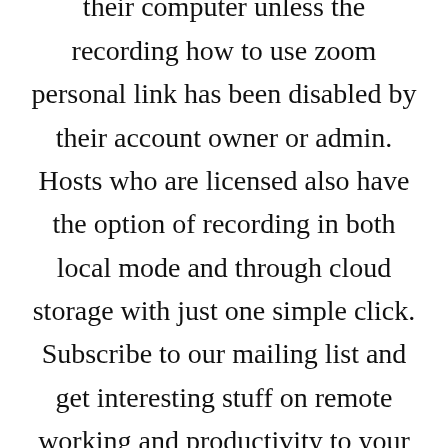Zoom hosts can record locally to their computer unless the recording how to use zoom personal link has been disabled by their account owner or admin. Hosts who are licensed also have the option of recording in both local mode and through cloud storage with just one simple click. Subscribe to our mailing list and get interesting stuff on remote working and productivity to your email inbox.